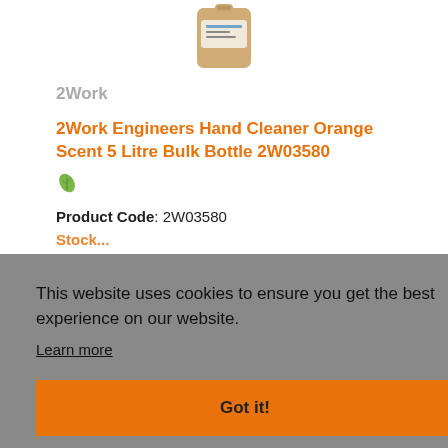[Figure (photo): Product image of 2Work Engineers Hand Cleaner Orange Scent 5 Litre Bulk Bottle, shown as a tan/brown rectangular bulk bottle container.]
2Work
2Work Engineers Hand Cleaner Orange Scent 5 Litre Bulk Bottle 2W03580
[Figure (illustration): Green leaf eco icon]
Product Code: 2W03580
This website uses cookies to ensure you get the best experience on our website.
Learn more
Got it!
RRP €45.34